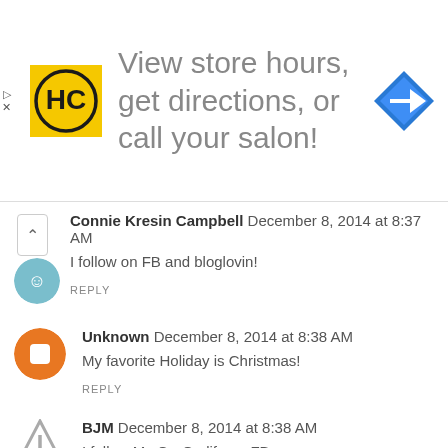[Figure (screenshot): Advertisement banner with HC logo, text 'View store hours, get directions, or call your salon!' and a blue navigation icon]
Connie Kresin Campbell  December 8, 2014 at 8:37 AM
I follow on FB and bloglovin!
REPLY
Unknown  December 8, 2014 at 8:38 AM
My favorite Holiday is Christmas!
REPLY
BJM  December 8, 2014 at 8:38 AM
I follow My Go-Go life on FB.
REPLY